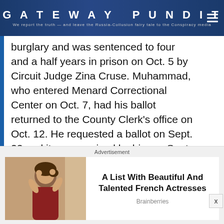GATEWAY PUNDIT — We report the truth — and leave the Russia-Collusion fairy tale to the Conspiracy media
burglary and was sentenced to four and a half years in prison on Oct. 5 by Circuit Judge Zina Cruse. Muhammad, who entered Menard Correctional Center on Oct. 7, had his ballot returned to the County Clerk's office on Oct. 12. He requested a ballot on Sept. 23 and it was received by him on Sept. 28.
Travion Wells, 23, pleaded guilty Aug. 3 to attempted armed robbery and was sentenced t
Advertisement
[Figure (photo): Woman adjusting her hair, advertisement image]
A List With Beautiful And Talented French Actresses
Brainberries